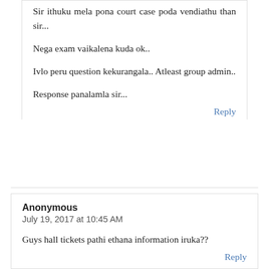Sir ithuku mela pona court case poda vendiathu than sir...
Nega exam vaikalena kuda ok..
Ivlo peru question kekurangala.. Atleast group admin..
Response panalamla sir...
Reply
Anonymous
July 19, 2017 at 10:45 AM
Guys hall tickets pathi ethana information iruka??
Reply